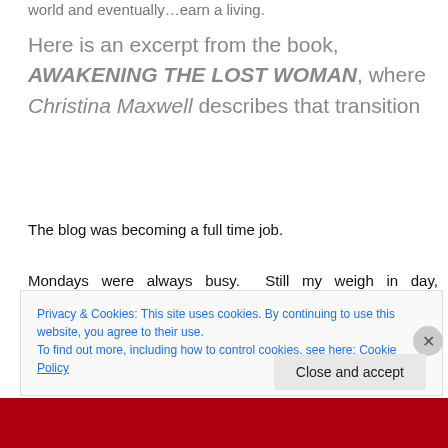world and eventually…earn a living.
Here is an excerpt from the book, AWAKENING THE LOST WOMAN, where Christina Maxwell describes that transition
The blog was becoming a full time job.
Mondays were always busy. Still my weigh in day, photographing myself and then uploading the images. Then there were my readers' 'Before and After' shots to be included. By the end of the day I usually struggled to finish
Privacy & Cookies: This site uses cookies. By continuing to use this website, you agree to their use.
To find out more, including how to control cookies, see here: Cookie Policy
Close and accept